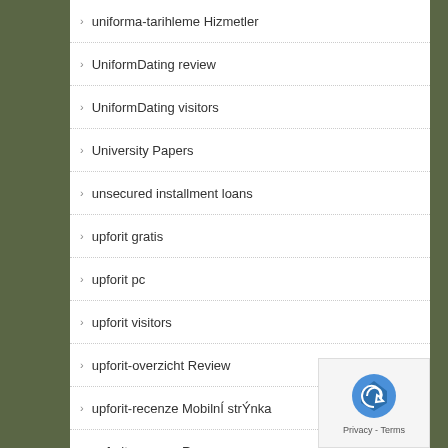uniforma-tarihleme Hizmetler
UniformDating review
UniformDating visitors
University Papers
unsecured installment loans
upforit gratis
upforit pc
upforit visitors
upforit-overzicht Review
upforit-recenze MobilnÍ strÝnka
upforit-recenze Recenze
usa payday loan
usa payday loans
utah review
uzbekistan-chat-rooms reviews